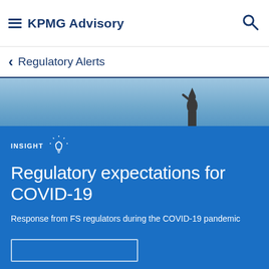KPMG Advisory
< Regulatory Alerts
[Figure (photo): Blue sky background with stone statue silhouette on a building rooftop]
INSIGHT
Regulatory expectations for COVID-19
Response from FS regulators during the COVID-19 pandemic